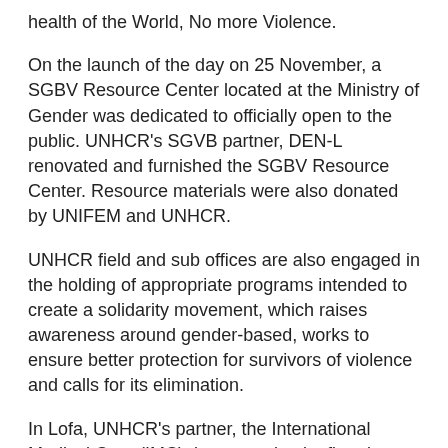health of the World, No more Violence.
On the launch of the day on 25 November, a SGBV Resource Center located at the Ministry of Gender was dedicated to officially open to the public. UNHCR's SGVB partner, DEN-L renovated and furnished the SGBV Resource Center. Resource materials were also donated by UNIFEM and UNHCR.
UNHCR field and sub offices are also engaged in the holding of appropriate programs intended to create a solidarity movement, which raises awareness around gender-based, works to ensure better protection for survivors of violence and calls for its elimination.
In Lofa, UNHCR's partner, the International Medical Corp (IMC), has organized a five-day training workshop on GBV for all health workers while some of the activities earmarked in Gbarnga include an inter-faith discussion, sports and